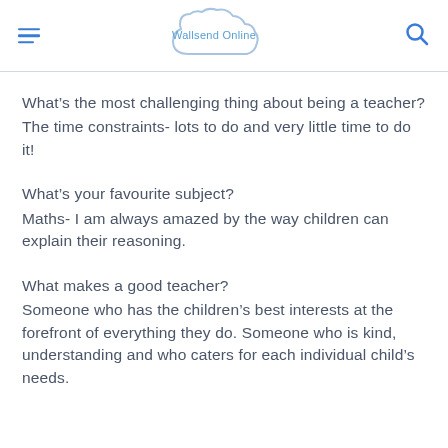Wallsend Online
What's the most challenging thing about being a teacher?
The time constraints- lots to do and very little time to do it!
What's your favourite subject?
Maths- I am always amazed by the way children can explain their reasoning.
What makes a good teacher?
Someone who has the children's best interests at the forefront of everything they do. Someone who is kind, understanding and who caters for each individual child's needs.